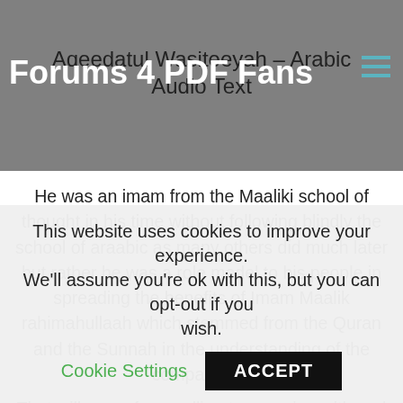Forums 4 PDF Fans
Aqeedatul Wasiteeyah – Arabic Audio Text
He was an imam from the Maaliki school of thought in his time without following blindly the school of araabic as many others did much later but rather he was a role model to his people in spreading the benefits of Imam Maalik rahimahullaah which stemmed from the Quran and the Sunnah in the understanding of the companions.
That will come from calling to agreeing with and uniting upon the truth and agreeing with and uniting upon the correct belief. Arabjc happens at the hands of the
This website uses cookies to improve your experience. We'll assume you're ok with this, but you can opt-out if you wish. Cookie Settings ACCEPT